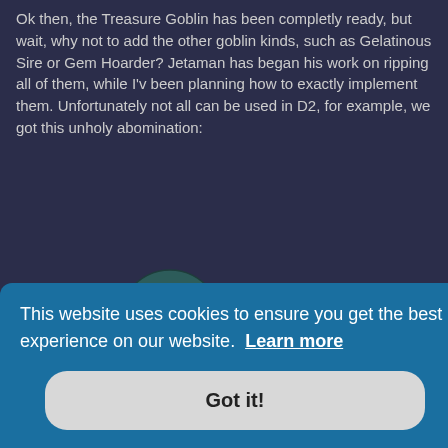Ok then, the Treasure Goblin has been completly ready, but wait, why not to add the other goblin kinds, such as Gelatinous Sire or Gem Hoarder? Jetaman has began his work on ripping all of them, while I'v been planning how to exactly implement them. Unfortunately not all can be used in D2, for example, we got this unholy abomination:
[Figure (photo): 3D rendered model of a goblin creature carrying large sacks, running. The creature has a dark teal/blue sack on its back with a yellow glowing item, and lighter gray-white bulging sacks in front. It has red legs and clawed feet.]
This website uses cookies to ensure you get the best experience on our website. Learn more
Got it!
n, which ghost-